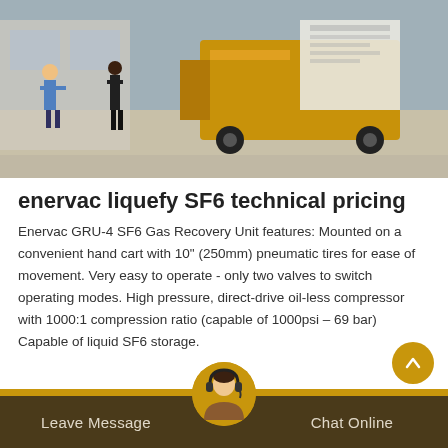[Figure (photo): Outdoor construction or industrial site scene showing workers near heavy equipment (yellow truck/machinery) and large boards or documents. People visible in background near a building.]
enervac liquefy SF6 technical pricing
Enervac GRU-4 SF6 Gas Recovery Unit features: Mounted on a convenient hand cart with 10" (250mm) pneumatic tires for ease of movement. Very easy to operate - only two valves to switch operating modes. High pressure, direct-drive oil-less compressor with 1000:1 compression ratio (capable of 1000psi – 69 bar) Capable of liquid SF6 storage.
Leave Message   Chat Online